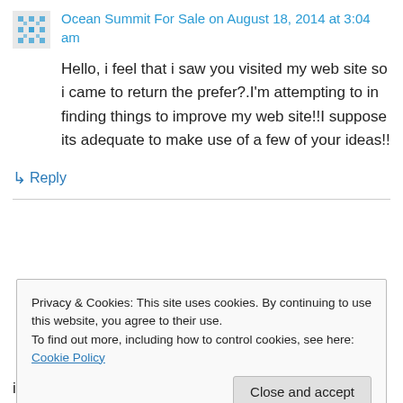Ocean Summit For Sale on August 18, 2014 at 3:04 am
Hello, i feel that i saw you visited my web site so i came to return the prefer?.I'm attempting to in finding things to improve my web site!!I suppose its adequate to make use of a few of your ideas!!
↳ Reply
Privacy & Cookies: This site uses cookies. By continuing to use this website, you agree to their use. To find out more, including how to control cookies, see here: Cookie Policy
Close and accept
impressive post to improve my experience.